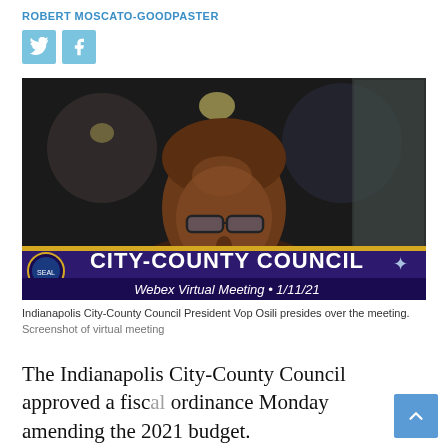ROBERT MOSCATO-GOODPASTER
[Figure (screenshot): Screenshot of Indianapolis City-County Council virtual Webex meeting on 1/11/21 showing Council President Vop Osili. Lower banner reads 'CITY-COUNTY COUNCIL' and 'Webex Virtual Meeting • 1/11/21'.]
Indianapolis City-County Council President Vop Osili presides over the meeting.
Screenshot of virtual meeting
The Indianapolis City-County Council approved a fiscal ordinance Monday amending the 2021 budget.